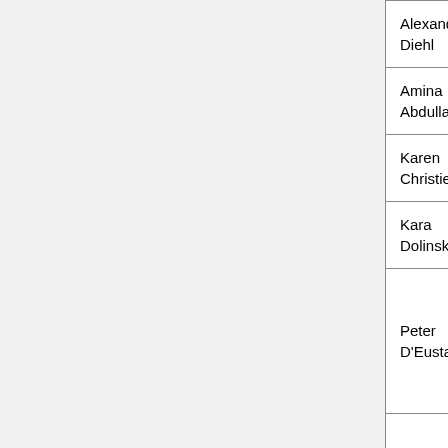| Name | Organization | Arrival Date/Time Airport (BHB= Harbor BGR=Ba…) |
| --- | --- | --- |
| Alexander Diehl | GOC/CL/MGI | local |
| Amina Abdulla | GOC - LBL - BBOP | TBD |
| Karen Christie | SGD, Stanford University | 6th Sept, 8 PM BHB |
| Kara Dolinski | Princeton | 6th Sept |
| Peter D'Eustachio | Reactome, NYU | 6th Sept (l… car?) |
| Name | Organization | Arrival Date/Time Airport (BHB= Harbor BGR=Ba…) |